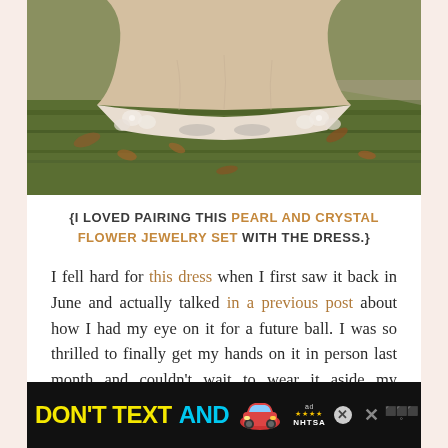[Figure (photo): Photo of the bottom/hem of a light champagne/blush lace-trimmed ball gown dress resting on grass with fallen leaves, outdoor setting]
{I LOVED PAIRING THIS PEARL AND CRYSTAL FLOWER JEWELRY SET WITH THE DRESS.}
I fell hard for this dress when I first saw it back in June and actually talked in a previous post about how I had my eye on it for a future ball. I was so thrilled to finally get my hands on it in person last month and couldn't wait to wear it aside my handsome soldier.
[Figure (other): Advertisement banner: DON'T TEXT AND [drive] — NHTSA public service ad with car emoji, yellow and cyan text on black background]